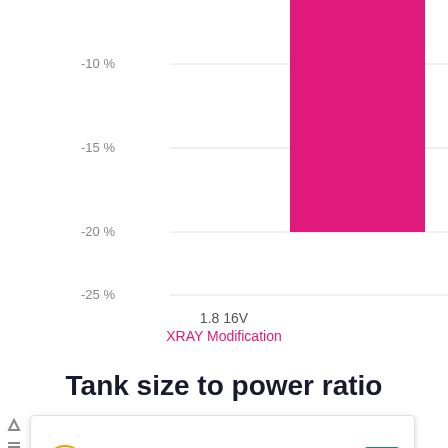[Figure (bar-chart): XRAY Modification comparison]
1.8 16V
XRAY Modification
Tank size to power ratio
[Figure (other): Advertisement: Buy Bitcoin With Cash — CoinFlip Bitcoin ATM]